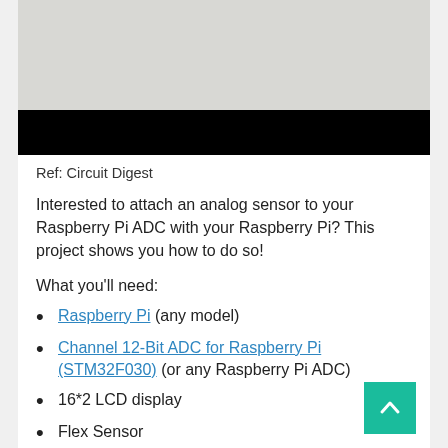[Figure (photo): Top portion of a photo showing a Raspberry Pi or electronics component, with a dark/black bar across the lower portion of the image area.]
Ref: Circuit Digest
Interested to attach an analog sensor to your Raspberry Pi ADC with your Raspberry Pi? This project shows you how to do so!
What you'll need:
Raspberry Pi (any model)
Channel 12-Bit ADC for Raspberry Pi (STM32F030) (or any Raspberry Pi ADC)
16*2 LCD display
Flex Sensor
Resistors and capacitors